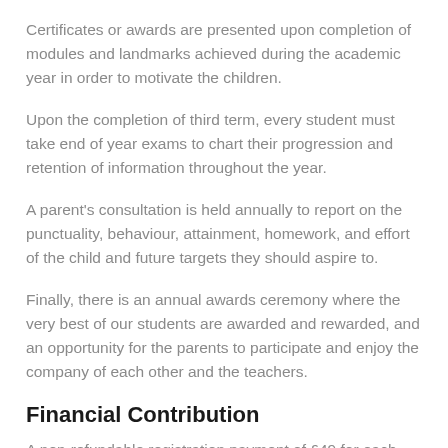Certificates or awards are presented upon completion of modules and landmarks achieved during the academic year in order to motivate the children.
Upon the completion of third term, every student must take end of year exams to chart their progression and retention of information throughout the year.
A parent's consultation is held annually to report on the punctuality, behaviour, attainment, homework, and effort of the child and future targets they should aspire to.
Finally, there is an annual awards ceremony where the very best of our students are awarded and rewarded, and an opportunity for the parents to participate and enjoy the company of each other and the teachers.
Financial Contribution
A non-refundable registration payment of £49 for each new